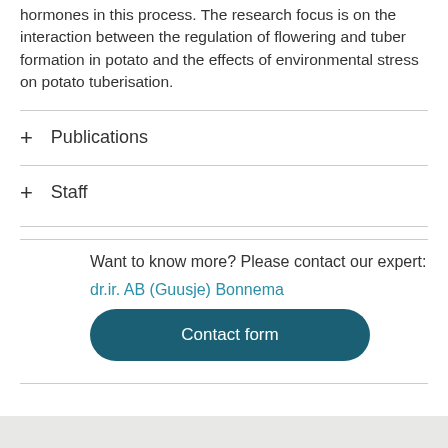hormones in this process. The research focus is on the interaction between the regulation of flowering and tuber formation in potato and the effects of environmental stress on potato tuberisation.
+ Publications
+ Staff
Want to know more? Please contact our expert:
dr.ir. AB (Guusje) Bonnema
Contact form